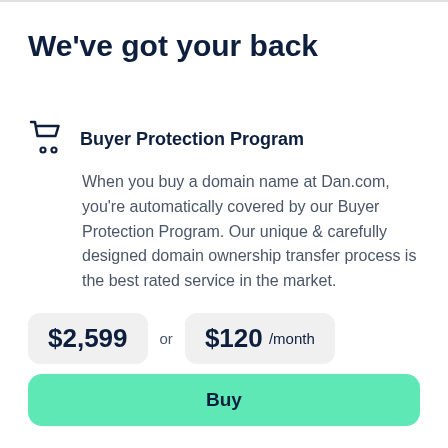We've got your back
Buyer Protection Program
When you buy a domain name at Dan.com, you're automatically covered by our Buyer Protection Program. Our unique & carefully designed domain ownership transfer process is the best rated service in the market.
$2,599 or $120 /month
Buy